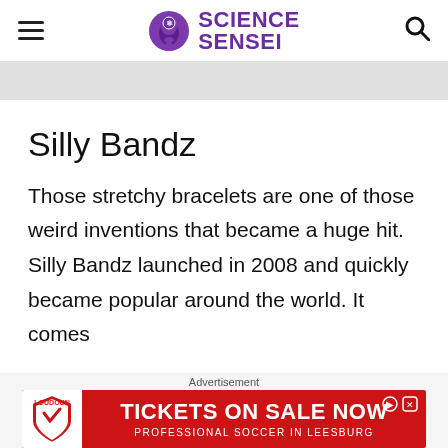Science Sensei
Silly Bandz
Those stretchy bracelets are one of those weird inventions that became a huge hit. Silly Bandz launched in 2008 and quickly became popular around the world. It comes
Advertisement